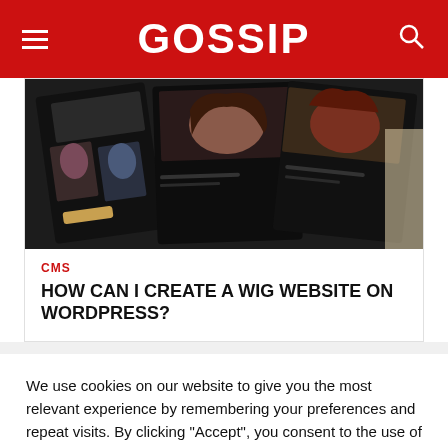GOSSIP
[Figure (photo): Dark-toned magazine or tablet mockup showing fashion/beauty website layouts with women's portraits]
CMS
HOW CAN I CREATE A WIG WEBSITE ON WORDPRESS?
We use cookies on our website to give you the most relevant experience by remembering your preferences and repeat visits. By clicking “Accept”, you consent to the use of ALL the cookies.
Do not sell my personal information.